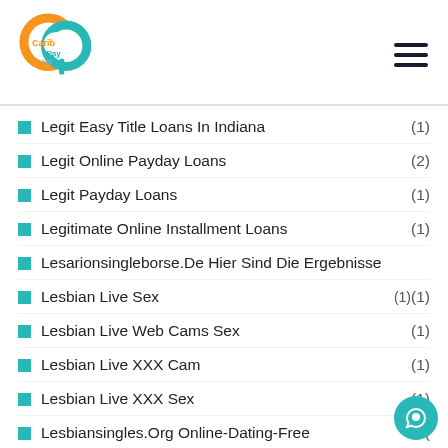Carib Pay App logo and hamburger menu
Legit Easy Title Loans In Indiana (1)
Legit Online Payday Loans (2)
Legit Payday Loans (1)
Legitimate Online Installment Loans (1)
Lesarionsingleborse.De Hier Sind Die Ergebnisse
Lesbian Live Sex (1)(1)
Lesbian Live Web Cams Sex (1)
Lesbian Live XXX Cam (1)
Lesbian Live XXX Sex (1)
Lesbiansingles.Org Online-Dating-Free (
Lesbiansingles.Org Online-Dating-Sites-That